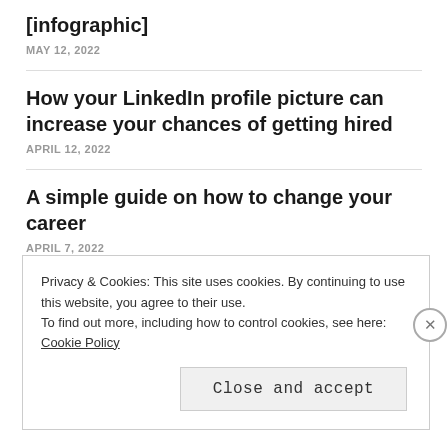[infographic]
MAY 12, 2022
How your LinkedIn profile picture can increase your chances of getting hired
APRIL 12, 2022
A simple guide on how to change your career
APRIL 7, 2022
Privacy & Cookies: This site uses cookies. By continuing to use this website, you agree to their use. To find out more, including how to control cookies, see here: Cookie Policy
Close and accept